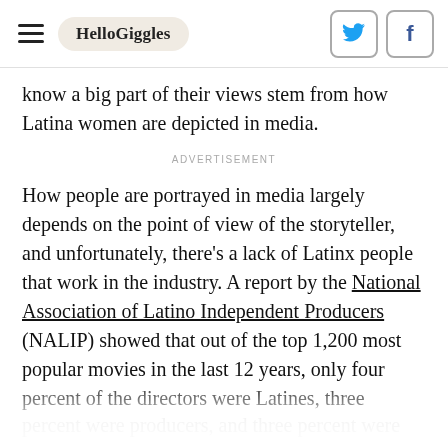HelloGiggles
know a big part of their views stem from how Latina women are depicted in media.
ADVERTISEMENT
How people are portrayed in media largely depends on the point of view of the storyteller, and unfortunately, there's a lack of Latinx people that work in the industry. A report by the National Association of Latino Independent Producers (NALIP) showed that out of the top 1,200 most popular movies in the last 12 years, only four percent of the directors were Latines, three
percent were producers, and three percent were